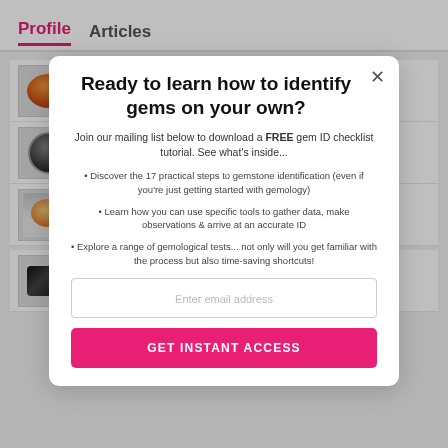Profile   Articles
Eudialyte Value, Price, and Jewelry Information
[Figure (photo): Orange-red oval gemstone thumbnail]
[Figure (photo): Dark round gemstone thumbnail]
[Figure (photo): Yellow-orange gemstone in bowl thumbnail]
[Figure (photo): Black rectangular gemstone thumbnail]
Ready to learn how to identify gems on your own?
Join our mailing list below to download a FREE gem ID checklist tutorial. See what's inside...
Discover the 17 practical steps to gemstone identification (even if you're just getting started with gemology)
Learn how you can use specific tools to gather data, make observations & arrive at an accurate ID
Explore a range of gemological tests... not only will you get familiar with the process but also time-saving shortcuts!
Enter email address
GET INSTANT ACCESS